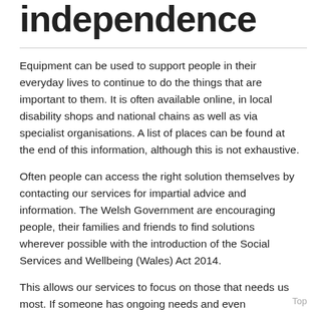independence
Equipment can be used to support people in their everyday lives to continue to do the things that are important to them. It is often available online, in local disability shops and national chains as well as via specialist organisations. A list of places can be found at the end of this information, although this is not exhaustive.
Often people can access the right solution themselves by contacting our services for impartial advice and information. The Welsh Government are encouraging people, their families and friends to find solutions wherever possible with the introduction of the Social Services and Wellbeing (Wales) Act 2014.
This allows our services to focus on those that needs us most. If someone has ongoing needs and even